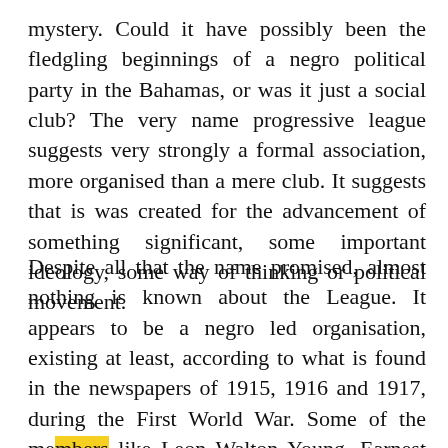mystery. Could it have possibly been the fledgling beginnings of a negro political party in the Bahamas, or was it just a social club? The very name progressive league suggests very strongly a formal association, more organised than a mere club. It suggests that is was created for the advancement of something significant, some important ideology, some way of thinking or political movement.
Despite all that the name promised, almost nothing is known about the League. It appears to be a negro led organisation, existing at least, according to what is found in the newspapers of 1915, 1916 and 1917, during the First World War. Some of the members like Leon Walton Young, Earnest L. Bowen and